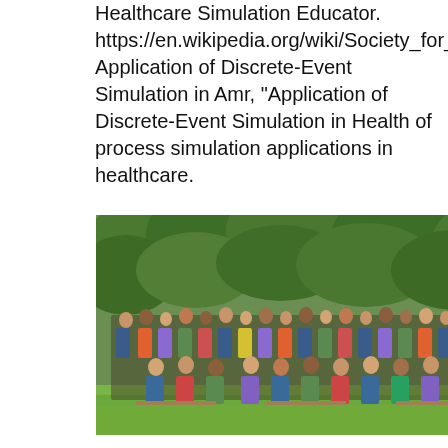Healthcare Simulation Educator. https://en.wikipedia.org/wiki/Society_for_Simulation_in_Healthcare Application of Discrete-Event Simulation in Amr, "Application of Discrete-Event Simulation in Health of process simulation applications in healthcare.
[Figure (photo): A large group photo of approximately 80-100 people (conference attendees) standing and sitting outdoors on a lawn with lush green trees in the background. People are arranged in rows, some seated on benches in the front.]